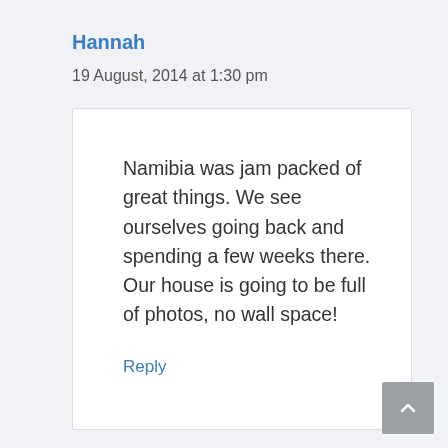Hannah
19 August, 2014 at 1:30 pm
Namibia was jam packed of great things. We see ourselves going back and spending a few weeks there. Our house is going to be full of photos, no wall space!
Reply